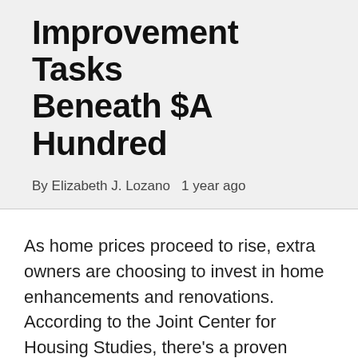Improvement Tasks Beneath $A Hundred
By Elizabeth J. Lozano   1 year ago
As home prices proceed to rise, extra owners are choosing to invest in home enhancements and renovations. According to the Joint Center for Housing Studies, there’s a proven connection between modifications in median home values and residential House & Home Improvement improvement spending. Homeowner equity assures householders that they will indeed afford the projects they might not afford in the course of rise recession.